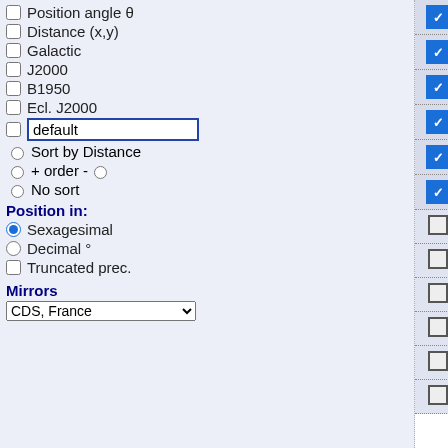Position angle θ
Distance (x,y)
Galactic
J2000
B1950
Ecl. J2000
default
Sort by Distance
+ order -
No sort
Position in:
Sexagesimal
Decimal °
Truncated prec.
Mirrors
CDS, France
| checked | radio | label | input |
| --- | --- | --- | --- |
| ✓ | ○ | Telescop |  |
| ✓ | ○ | Beam |  |
| ✓ | ○ | Beam2 |  |
| ✓ | ○ | x_Beam |  |
| ✓ | ○ | r_Beam |  |
| ✓ | ○ | Trans |  |
| □ | ○ | Freq |  |
| □ | ○ | Sep |  |
| □ | ○ | Freq2 |  |
| □ | ○ | Line |  |
| □ | ○ | n_Line |  |
| □ | ○ | Line2 |  |